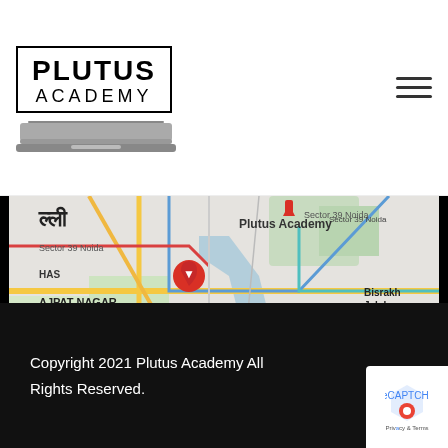[Figure (logo): Plutus Academy logo with laptop outline and bordered box]
[Figure (map): Google Maps showing Plutus Academy location near Noida, Delhi area with roads, metro lines and location pin]
Copyright 2021 Plutus Academy All Rights Reserved.